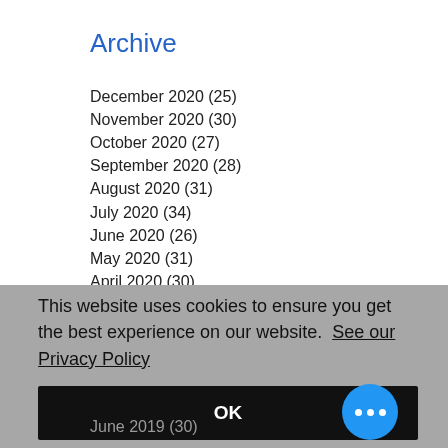Archive
December 2020 (25)
November 2020 (30)
October 2020 (27)
September 2020 (28)
August 2020 (31)
July 2020 (34)
June 2020 (26)
May 2020 (31)
April 2020 (30)
March 2020 (31)
This website uses cookies to ensure you get the best experience on our website.  See our Privacy Policy
OK
June 2019 (30)